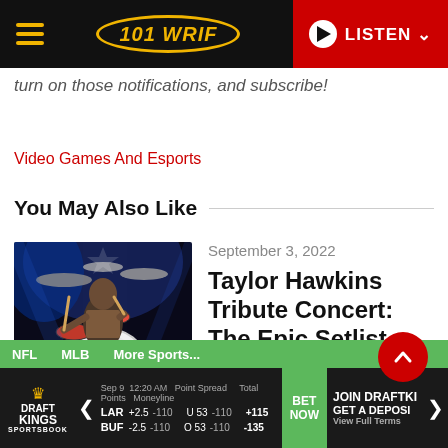101 WRIF — LISTEN
turn on those notifications, and subscribe!
Video Games And Esports
You May Also Like
[Figure (photo): Drummer performing on stage with drums and blue stage lighting, wearing a patterned shirt]
September 3, 2022
Taylor Hawkins Tribute Concert: The Epic Setlist
NFL  MLB  More Sports...  DraftKings Sportsbook — LAR +2.5 -110 / BUF -2.5 -110 — U 53 -110 / O 53 -110 — +115 / -135 — JOIN DRAFTKINGS GET A DEPOSIT